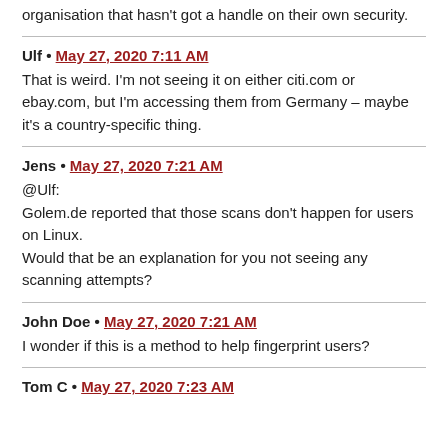organisation that hasn't got a handle on their own security.
Ulf • May 27, 2020 7:11 AM
That is weird. I'm not seeing it on either citi.com or ebay.com, but I'm accessing them from Germany – maybe it's a country-specific thing.
Jens • May 27, 2020 7:21 AM
@Ulf:
Golem.de reported that those scans don't happen for users on Linux.
Would that be an explanation for you not seeing any scanning attempts?
John Doe • May 27, 2020 7:21 AM
I wonder if this is a method to help fingerprint users?
Tom C • May 27, 2020 7:23 AM